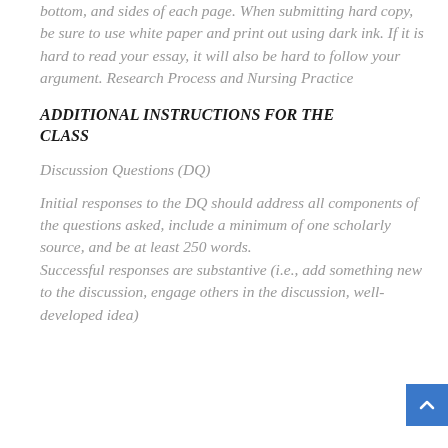bottom, and sides of each page. When submitting hard copy, be sure to use white paper and print out using dark ink. If it is hard to read your essay, it will also be hard to follow your argument. Research Process and Nursing Practice
ADDITIONAL INSTRUCTIONS FOR THE CLASS
Discussion Questions (DQ)
Initial responses to the DQ should address all components of the questions asked, include a minimum of one scholarly source, and be at least 250 words.
Successful responses are substantive (i.e., add something new to the discussion, engage others in the discussion, well-developed idea)